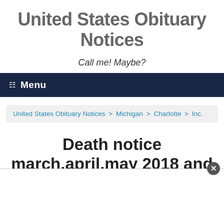United States Obituary Notices
Call me! Maybe?
Menu
United States Obituary Notices > Michigan > Charlotte > Inc.
Death notice march,april,may 2018 and earlier